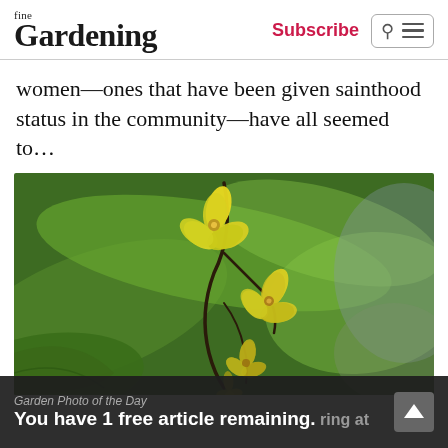fine Gardening | Subscribe
women—ones that have been given sainthood status in the community—have all seemed to…
[Figure (photo): Close-up photo of yellow trout lily or similar drooping yellow flowers with reflexed petals on dark slender stems, with large green leaves in the background, shallow depth of field]
Garden Photo of the Day
You have 1 free article remaining. ring at